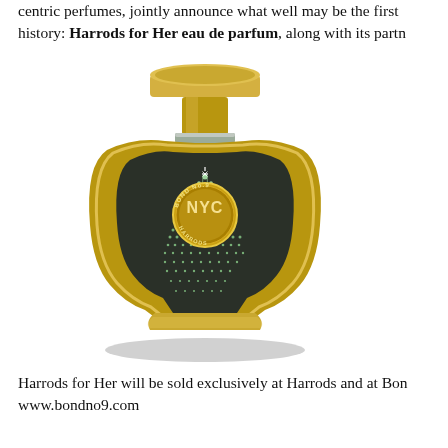centric perfumes, jointly announce what well may be the first history: Harrods for Her eau de parfum, along with its partn
[Figure (photo): A Bond No. 9 perfume bottle with gold frame casing and dark green label decorated with crystal/rhinestone cityscape design. The circular gold label in the center reads 'BOND No.9 NYC HARRODS'.]
Harrods for Her will be sold exclusively at Harrods and at Bon www.bondno9.com